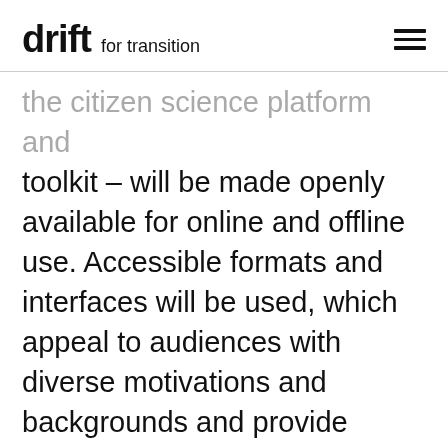drift for transition
the citizen science platform and toolkit – will be made openly available for online and offline use. Accessible formats and interfaces will be used, which appeal to audiences with diverse motivations and backgrounds and provide detailed examples, workflows, and advice tailored for a range of activities, going beyond data collection and analysis.
Our digital infrastructure will help